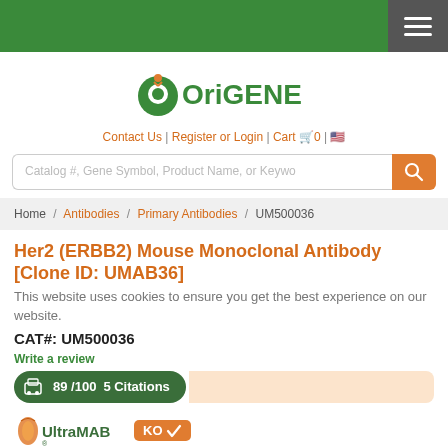OriGENE — Contact Us | Register or Login | Cart 0
[Figure (logo): OriGENE logo — green circular icon with orange person figure, green text reading OriGENE]
Contact Us | Register or Login | Cart 🛒 0 | 🇺🇸
Catalog #, Gene Symbol, Product Name, or Keywo
Home / Antibodies / Primary Antibodies / UM500036
Her2 (ERBB2) Mouse Monoclonal Antibody [Clone ID: UMAB36]
This website uses cookies to ensure you get the best experience on our website.
CAT#: UM500036
Write a review
89 /100  5 Citations
[Figure (logo): UltraMAB logo and KO verified badge]